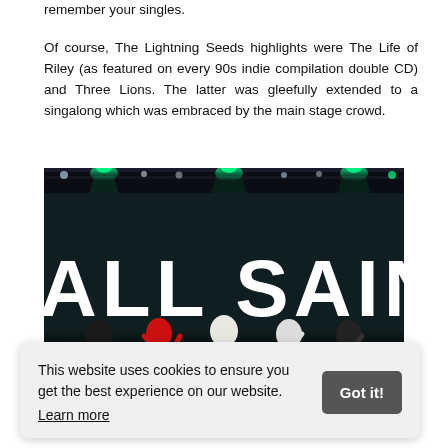remember your singles.
Of course, The Lightning Seeds highlights were The Life of Riley (as featured on every 90s indie compilation double CD) and Three Lions. The latter was gleefully extended to a singalong which was embraced by the main stage crowd.
[Figure (photo): Concert photo showing performers on stage in front of a large ALL SAINTS banner with bright stage lighting above.]
This website uses cookies to ensure you get the best experience on our website.
Learn more